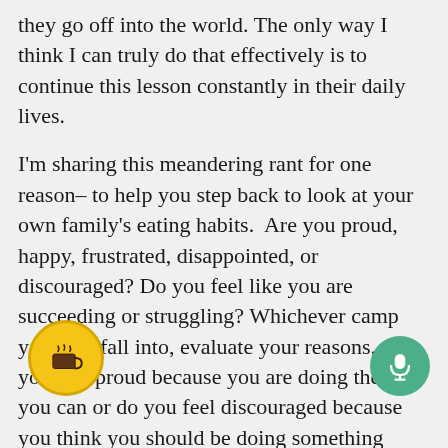they go off into the world. The only way I think I can truly do that effectively is to continue this lesson constantly in their daily lives.
I'm sharing this meandering rant for one reason– to help you step back to look at your own family's eating habits.  Are you proud, happy, frustrated, disappointed, or discouraged? Do you feel like you are succeeding or struggling? Whichever camp you may fall into, evaluate your reasons.  Do you feel proud because you are doing the best you can or do you feel discouraged because you think you should be doing something different? You don't have to start with a complete overhaul, but maybe this week you can add one new veggie into t[...] tion, or find a new healthy recipe to [...] o[...]ght this week. Let me know where yo[...] t and let's support each other!
[Figure (illustration): Yellow circular button with a coffee cup icon (Buy Me a Coffee button)]
[Figure (illustration): Green circular button with a microphone icon]